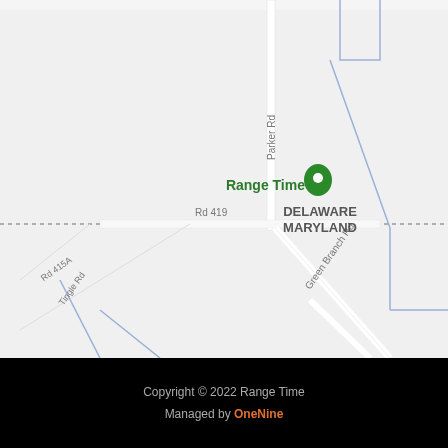[Figure (map): Google Maps screenshot showing the location of 'Range Time' near the Delaware-Maryland border. Roads shown include Parker Rd (vertical), Green Branch Rd (diagonal), Rd 415A, Tingle Rd, and Rd 419. A green location pin marks Range Time. A dotted horizontal line marks the Delaware/Maryland state border labeled 'DELAWARE MARYLAND'. Blue lines indicate additional roads/borders.]
Copyright © 2022 Range Time
Managed by OneNine